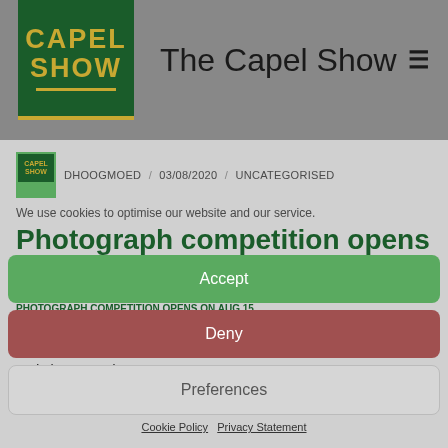[Figure (logo): Capel Show logo: dark green box with gold 'CAPEL SHOW' text and gold underline]
The Capel Show
[Figure (logo): Small Capel Show logo thumbnail in meta row]
DHOOGMOED / 03/08/2020 / UNCATEGORISED
We use cookies to optimise our website and our service.
Photograph competition opens on Aug 15
Accept
HOME > UNCATEGORISED >
PHOTOGRAPH COMPETITION OPENS ON AUG 15
Deny
Preferences
In lieu of our cancelled show we are organising a photograph competition. There are two classes: 1) "You and your motorbike" and 2) "You and your car".
Cookie Policy   Privacy Statement